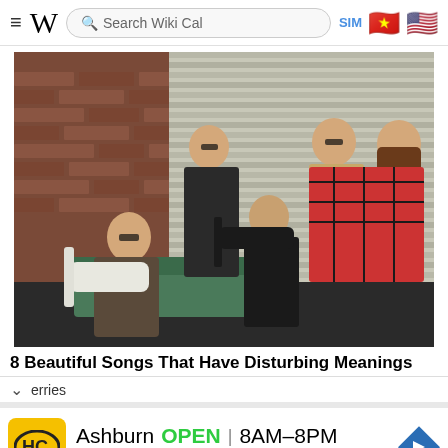≡ W  Search Wiki Cal  SIM 🇻🇳 🇺🇸
[Figure (photo): Five members of a band posing in a room with brick wall and metal shutters background. One member is seated in a green chair holding a white guitar, another is seated holding a dark guitar, three are standing. Members are wearing casual clothes.]
8 Beautiful Songs That Have Disturbing Meanings
erries
Ashburn  OPEN  8AM–8PM
44110 Ashburn Shopping Plaza 1.